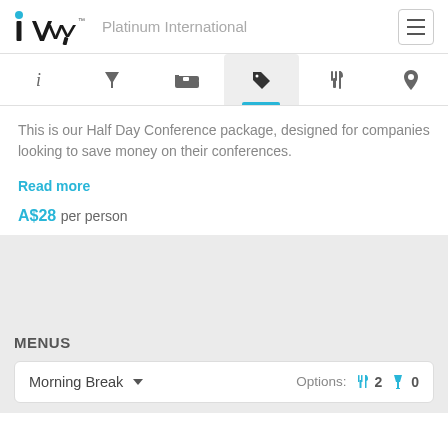iVvy — Platinum International
This is our Half Day Conference package, designed for companies looking to save money on their conferences.
Read more
A$28 per person
MENUS
Morning Break  Options: 2  0